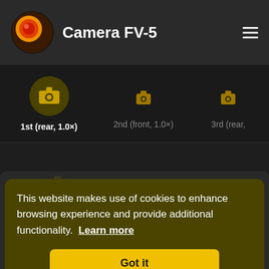Camera FV-5
1st (rear, 1.0×)
2nd (front, 1.0×)
3rd (rear,
This website makes use of cookies to enhance browsing experience and provide additional functionality. Learn more
Got it
Sensor
6.4×4.8 mm